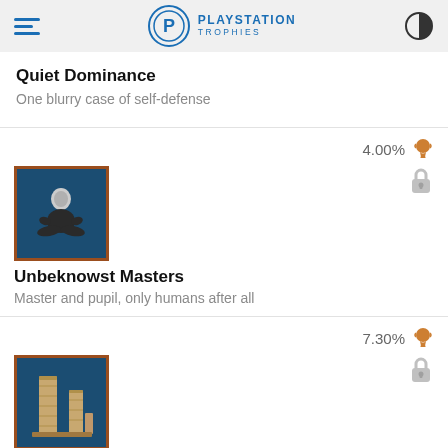PLAYSTATION TROPHIES
Quiet Dominance
One blurry case of self-defense
[Figure (illustration): Trophy image for Unbeknowst Masters showing a person sitting cross-legged in meditation pose against a dark blue background with a brown border frame]
Unbeknowst Masters
Master and pupil, only humans after all
[Figure (illustration): Trophy image for Grave Robber showing stone pillars/ruins against a dark blue background with a brown border frame]
Grave Robber
Investigate several cases of the missing corpses